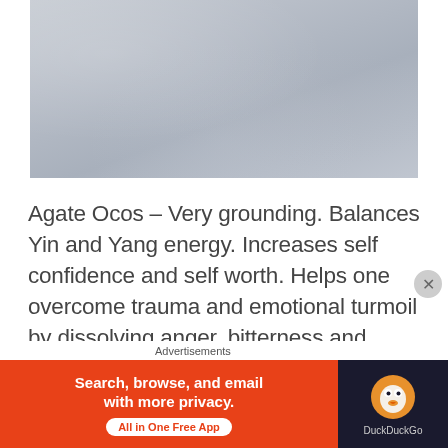[Figure (photo): Light gray/blue textured surface, resembling a stone or fabric texture with subtle variations]
Agate Ocos – Very grounding. Balances Yin and Yang energy. Increases self confidence and self worth. Helps one overcome trauma and emotional turmoil by dissolving anger, bitterness and resentments. Instills a sense of safety and security. Encourages us to trust the Universe, and to be free spirited without
Advertisements
[Figure (screenshot): DuckDuckGo advertisement banner: orange left side with 'Search, browse, and email with more privacy. All in One Free App' and dark right side with DuckDuckGo logo]